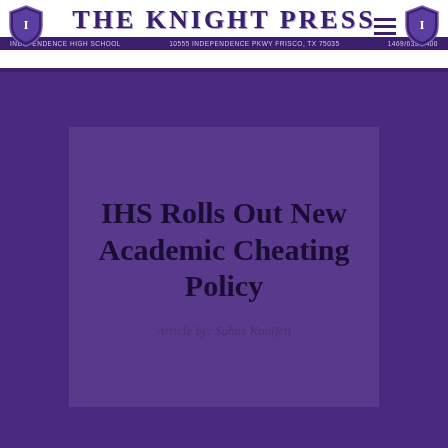THE KNIGHT PRESS — INDEPENDENCE HIGH SCHOOL — 10555 INDEPENDENCE PKWY FRISCO, TX 75035 — 1469/633-5400
IHS Rolls Out New Academic Cheating Policy
Article by: Suhas Konijeti